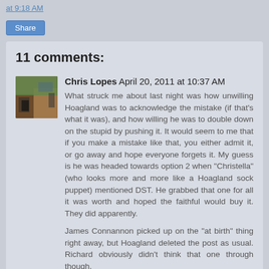at 9:18 AM
Share
11 comments:
Chris Lopes  April 20, 2011 at 10:37 AM
What struck me about last night was how unwilling Hoagland was to acknowledge the mistake (if that's what it was), and how willing he was to double down on the stupid by pushing it. It would seem to me that if you make a mistake like that, you either admit it, or go away and hope everyone forgets it. My guess is he was headed towards option 2 when "Christella" (who looks more and more like a Hoagland sock puppet) mentioned DST. He grabbed that one for all it was worth and hoped the faithful would buy it. They did apparently.
James Connannon picked up on the "at birth" thing right away, but Hoagland deleted the post as usual. Richard obviously didn't think that one through though.